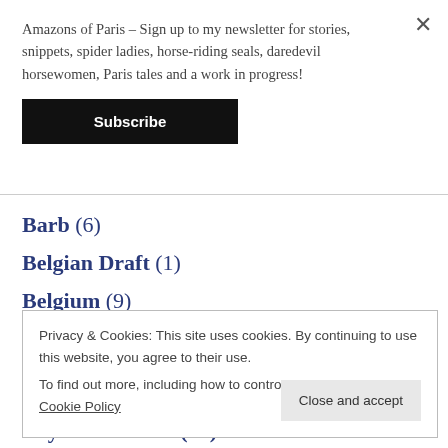Amazons of Paris – Sign up to my newsletter for stories, snippets, spider ladies, horse-riding seals, daredevil horsewomen, Paris tales and a work in progress!
Subscribe
Barb (6)
Belgian Draft (1)
Belgium (9)
Privacy & Cookies: This site uses cookies. By continuing to use this website, you agree to their use.
To find out more, including how to control cookies, see here: Cookie Policy
Close and accept
Boys and Ponies (31)